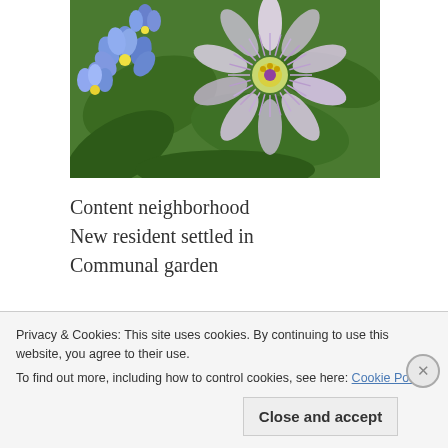[Figure (photo): Close-up photograph of flowers — blue/purple flowers on the left and a passionflower (white with purple center and feathery filaments) on the right, with green leaves in the background.]
Content neighborhood
New resident settled in
Communal garden
Day 191/365 – Morgan's
#DailyHaikuChallenge  Join in and link back to her
Privacy & Cookies: This site uses cookies. By continuing to use this website, you agree to their use.
To find out more, including how to control cookies, see here: Cookie Policy
Close and accept